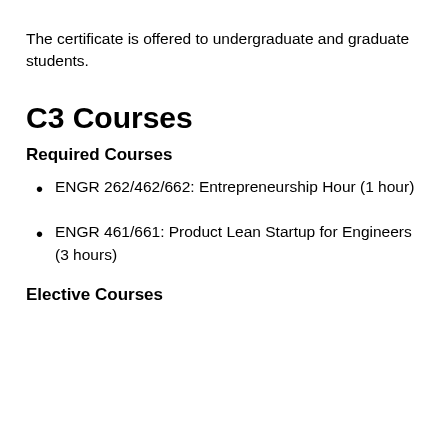The certificate is offered to undergraduate and graduate students.
C3 Courses
Required Courses
ENGR 262/462/662: Entrepreneurship Hour (1 hour)
ENGR 461/661: Product Lean Startup for Engineers (3 hours)
Elective Courses